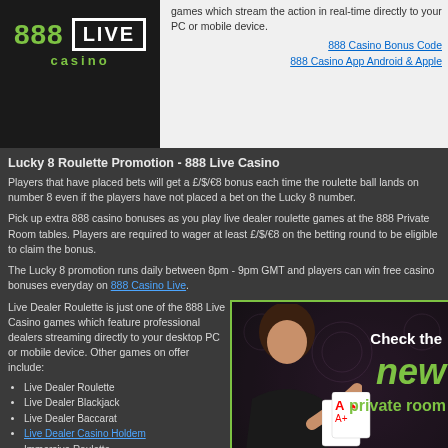[Figure (logo): 888 Casino LIVE logo - black background with green 888 text and white LIVE in box]
games which stream the action in real-time directly to your PC or mobile device.
888 Casino Bonus Code
888 Casino App Android & Apple
Lucky 8 Roulette Promotion - 888 Live Casino
Players that have placed bets will get a £/$/€8 bonus each time the roulette ball lands on number 8 even if the players have not placed a bet on the Lucky 8 number.
Pick up extra 888 casino bonuses as you play live dealer roulette games at the 888 Private Room tables. Players are required to wager at least £/$/€8 on the betting round to be eligible to claim the bonus.
The Lucky 8 promotion runs daily between 8pm - 9pm GMT and players can win free casino bonuses everyday on 888 Casino Live.
Live Dealer Roulette is just one of the 888 Live Casino games which feature professional dealers streaming directly to your desktop PC or mobile device. Other games on offer include:
Live Dealer Roulette
Live Dealer Blackjack
Live Dealer Baccarat
Live Dealer Casino Holdem
Immersive Roulette
London Roulette
Sports Roulette
[Figure (photo): 888 Casino Live advertisement showing a female dealer holding playing cards with text 'Check the new private room' and 888 Casino Live logo]
Play 888 Live Casino
888 Live Dealer Casino brings all the action and excitement of a real casino without the inconvenience of having to travel to your local casino. The friendly dealers are their to chat and assist you while you